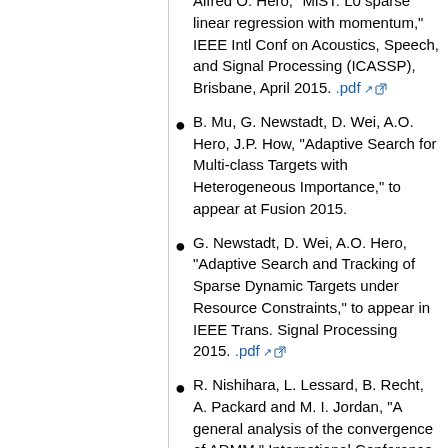Alfred O. Hero, "MiST: L0 sparse linear regression with momentum," IEEE Intl Conf on Acoustics, Speech, and Signal Processing (ICASSP), Brisbane, April 2015. .pdf
B. Mu, G. Newstadt, D. Wei, A.O. Hero, J.P. How, "Adaptive Search for Multi-class Targets with Heterogeneous Importance," to appear at Fusion 2015.
G. Newstadt, D. Wei, A.O. Hero, "Adaptive Search and Tracking of Sparse Dynamic Targets under Resource Constraints," to appear in IEEE Trans. Signal Processing 2015. .pdf
R. Nishihara, L. Lessard, B. Recht, A. Packard and M. I. Jordan, "A general analysis of the convergence of ADMM," International Conference on Machine Learning, to appear. .pdf
S. Soatto and A. Chiuso, "Visual Scene Representations: sufficiency, minimality, invariance and deep approximation", International Conference on Learning